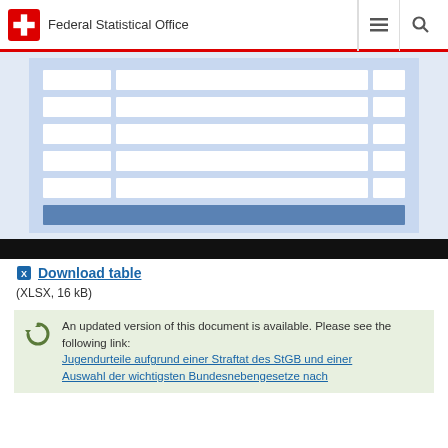Federal Statistical Office
[Figure (screenshot): Screenshot of a data table with multiple rows and columns displayed on a light blue background, followed by a dark footer bar]
Download table
(XLSX, 16 kB)
An updated version of this document is available. Please see the following link: Jugendurteile aufgrund einer Straftat des StGB und einer Auswahl der wichtigsten Bundesnebengesetze nach